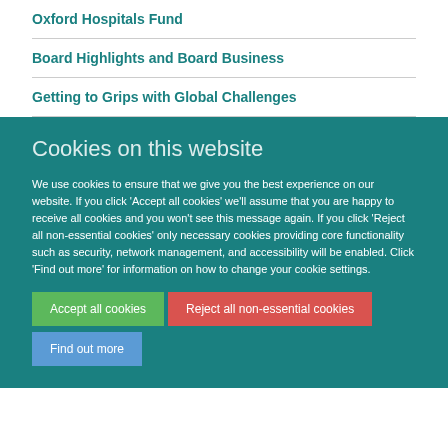Oxford Hospitals Fund
Board Highlights and Board Business
Getting to Grips with Global Challenges
Cookies on this website
We use cookies to ensure that we give you the best experience on our website. If you click 'Accept all cookies' we'll assume that you are happy to receive all cookies and you won't see this message again. If you click 'Reject all non-essential cookies' only necessary cookies providing core functionality such as security, network management, and accessibility will be enabled. Click 'Find out more' for information on how to change your cookie settings.
Accept all cookies
Reject all non-essential cookies
Find out more